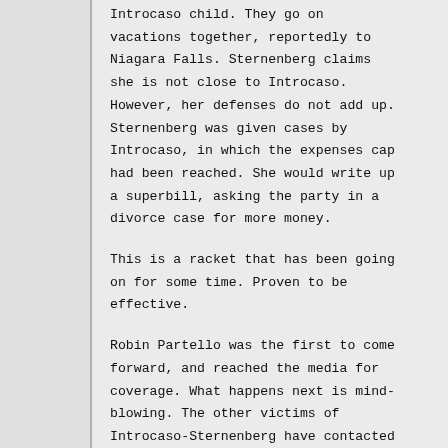Introcaso child. They go on vacations together, reportedly to Niagara Falls. Sternenberg claims she is not close to Introcaso. However, her defenses do not add up. Sternenberg was given cases by Introcaso, in which the expenses cap had been reached. She would write up a superbill, asking the party in a divorce case for more money.
This is a racket that has been going on for some time. Proven to be effective.
Robin Partello was the first to come forward, and reached the media for coverage. What happens next is mind-blowing. The other victims of Introcaso-Sternenberg have contacted